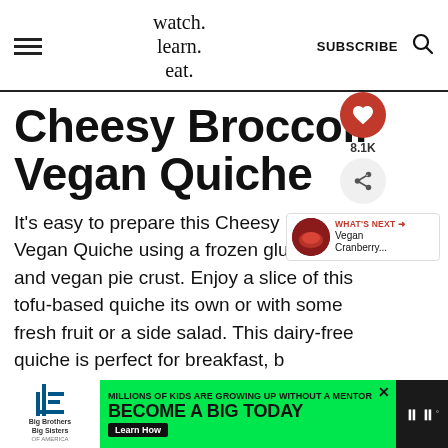watch. learn. eat. | SUBSCRIBE
Cheesy Broccoli Vegan Quiche
It's easy to prepare this Cheesy Broccoli Vegan Quiche using a frozen gluten-free and vegan pie crust. Enjoy a slice of this tofu-based quiche its own or with some fresh fruit or a side salad. This dairy-free quiche is perfect for breakfast, b… lunch!
[Figure (infographic): Heart/like button with 8.1K count and share button floating on right side]
[Figure (infographic): What's Next panel showing Vegan Cranberry... with a bowl image]
[Figure (infographic): Big Brothers Big Sisters advertisement banner: MILLIONS OF KIDS ARE GROWING UP WITHOUT A MENTOR. BECOME A BIG TODAY. Learn How.]